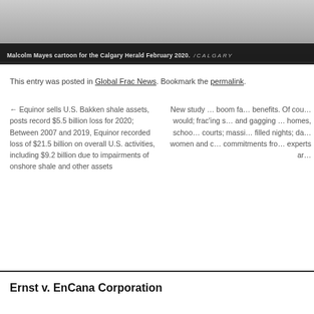[Figure (photo): Photograph of a snowy scene, partially visible at top of page]
Malcolm Mayes cartoon for the Calgary Herald February 2020. /CALGARY
This entry was posted in Global Frac News. Bookmark the permalink.
← Equinor sells U.S. Bakken shale assets, posts record $5.5 billion loss for 2020; Between 2007 and 2019, Equinor recorded loss of $21.5 billion on overall U.S. activities, including $9.2 billion due to impairments of onshore shale and other assets
New study … boom fa… benefits. Of cou… would; frac'ing s… and gagging … homes, schoo… courts; massi… filled nights; da… women and c… commitments fro… experts ar…
Ernst v. EnCana Corporation